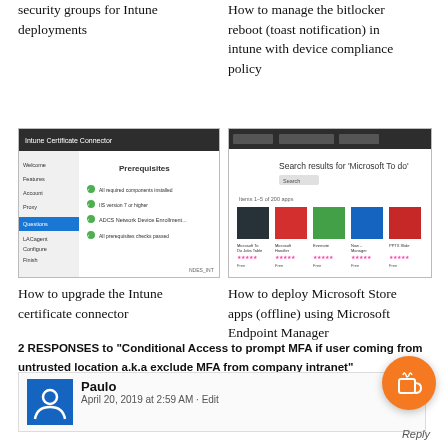security groups for Intune deployments
How to manage the bitlocker reboot (toast notification) in intune with device compliance policy
[Figure (screenshot): Screenshot of Intune Certificate Connector setup window showing Prerequisites checklist]
[Figure (screenshot): Screenshot of Microsoft Store search results for 'Microsoft To do' showing app icons]
How to upgrade the Intune certificate connector
How to deploy Microsoft Store apps (offline) using Microsoft Endpoint Manager
2 RESPONSES to "Conditional Access to prompt MFA if user coming from untrusted location a.k.a exclude MFA from company intranet"
Paulo
April 20, 2019 at 2:59 AM · Edit